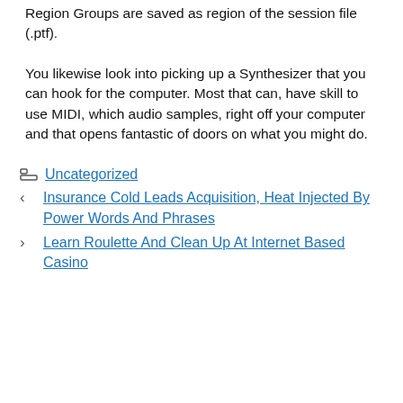Region Groups are saved as region of the session file (.ptf).
You likewise look into picking up a Synthesizer that you can hook for the computer. Most that can, have skill to use MIDI, which audio samples, right off your computer and that opens fantastic of doors on what you might do.
Uncategorized
Insurance Cold Leads Acquisition, Heat Injected By Power Words And Phrases
Learn Roulette And Clean Up At Internet Based Casino